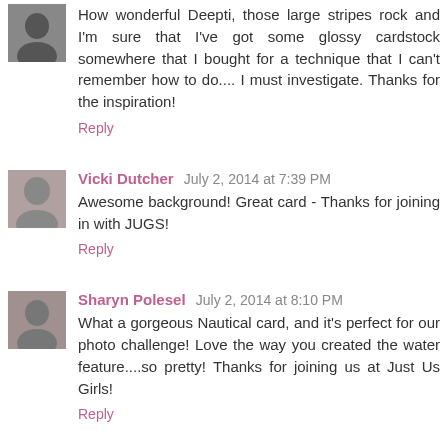How wonderful Deepti, those large stripes rock and I'm sure that I've got some glossy cardstock somewhere that I bought for a technique that I can't remember how to do.... I must investigate. Thanks for the inspiration!
Reply
Vicki Dutcher  July 2, 2014 at 7:39 PM
Awesome background! Great card - Thanks for joining in with JUGS!
Reply
Sharyn Polesel  July 2, 2014 at 8:10 PM
What a gorgeous Nautical card, and it's perfect for our photo challenge! Love the way you created the water feature....so pretty! Thanks for joining us at Just Us Girls!
Reply